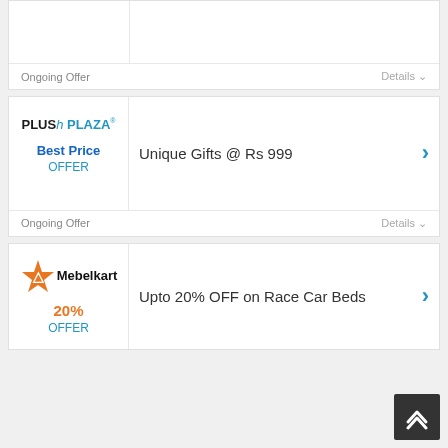Ongoing Offer
Details
[Figure (logo): PlushPlaza logo]
Best Price
OFFER
Unique Gifts @ Rs 999
Ongoing Offer
Details
[Figure (logo): Mebelkart logo with orange star icon]
20%
OFFER
Upto 20% OFF on Race Car Beds